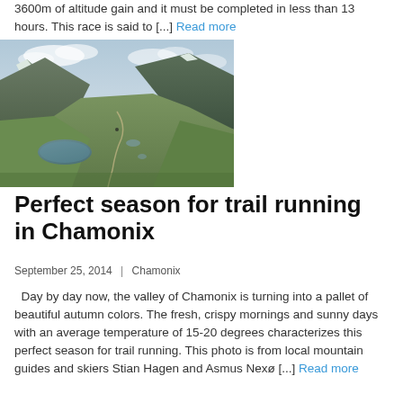3600m of altitude gain and it must be completed in less than 13 hours. This race is said to [...] Read more
[Figure (photo): Aerial landscape photo of a mountain valley in Chamonix with green alpine meadows, a small lake, cloudy sky, and a trail runner visible in the distance]
Perfect season for trail running in Chamonix
September 25, 2014  |  Chamonix
Day by day now, the valley of Chamonix is turning into a pallet of beautiful autumn colors. The fresh, crispy mornings and sunny days with an average temperature of 15-20 degrees characterizes this perfect season for trail running. This photo is from local mountain guides and skiers Stian Hagen and Asmus Nexø... [...] Read more